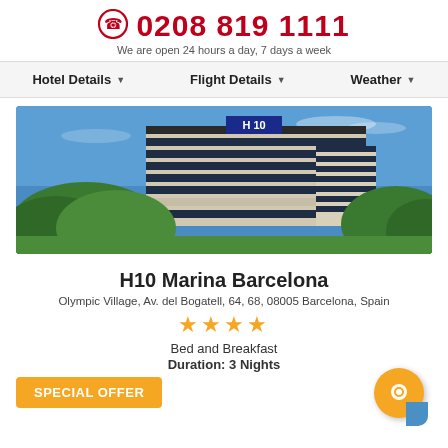0208 819 1111 — We are open 24 hours a day, 7 days a week
Hotel Details | Flight Details | Weather
[Figure (photo): Exterior photo of H10 Marina Barcelona hotel building — a tall modern glass and concrete building with H10 sign on top, surrounded by green trees under a blue sky]
H10 Marina Barcelona
Olympic Village, Av. del Bogatell, 64, 68, 08005 Barcelona, Spain
★★★★ (4 stars)
Bed and Breakfast
Duration: 3 Nights
SPECIAL OFFER